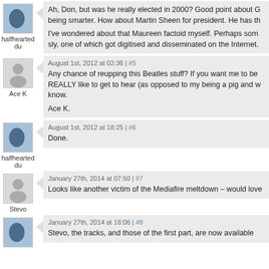Ah, Don, but was he really elected in 2000? Good point about G being smarter. How about Martin Sheen for president. He has th

I've wondered about that Maureen factoid myself. Perhaps som sly, one of which got digitised and disseminated on the Internet.
August 1st, 2012 at 02:36 | #5
Any chance of reupping this Beatles stuff? If you want me to be REALLY like to get to hear (as opposed to my being a pig and w know.

Ace K.
August 1st, 2012 at 18:25 | #6
Done.
January 27th, 2014 at 07:50 | #7
Looks like another victim of the Mediafire meltdown – would love
January 27th, 2014 at 18:06 | #8
Stevo, the tracks, and those of the first part, are now available